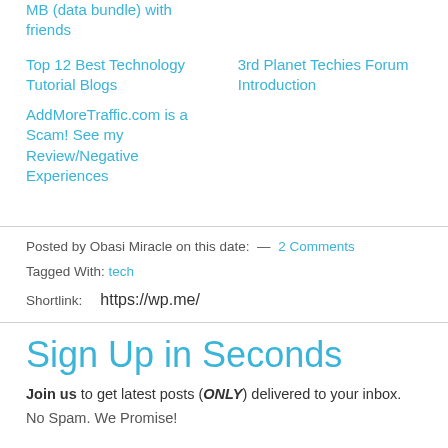MB (data bundle) with friends
Top 12 Best Technology Tutorial Blogs
3rd Planet Techies Forum Introduction
AddMoreTraffic.com is a Scam! See my Review/Negative Experiences
Posted by Obasi Miracle on this date:  —  2 Comments
Tagged With: tech
Shortlink:    https://wp.me/
Sign Up in Seconds
Join us to get latest posts (ONLY) delivered to your inbox.
No Spam. We Promise!